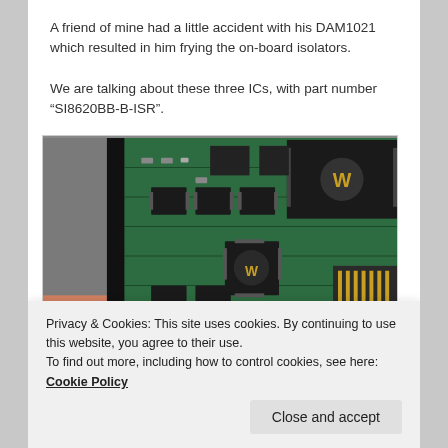A friend of mine had a little accident with his DAM1021 which resulted in him frying the on-board isolators.
We are talking about these three ICs, with part number “SI8620BB-B-ISR”.
[Figure (photo): Close-up photograph of a green circuit board (DAM1021) showing multiple ICs, SMD components, connectors, and a large black chip with a W logo in the upper right, along with smaller chips including one with a W/A logo.]
Privacy & Cookies: This site uses cookies. By continuing to use this website, you agree to their use.
To find out more, including how to control cookies, see here: Cookie Policy
Luckily, it turns out that the TISO7420FEDR is a good